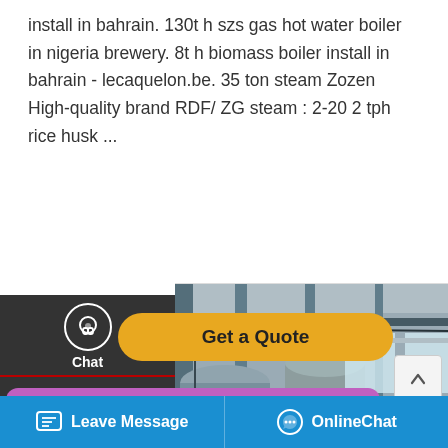install in bahrain. 130t h szs gas hot water boiler in nigeria brewery. 8t h biomass boiler install in bahrain - lecaquelon.be. 35 ton steam Zozen High-quality brand RDF/ ZG steam : 2-20 2 tph rice husk ...
[Figure (screenshot): Left sidebar overlay with Chat, Email, Contact options; Get a Quote orange button; industrial boiler room photo; WhatsApp save stickers popup; bottom navigation bar with Leave Message and OnlineChat buttons]